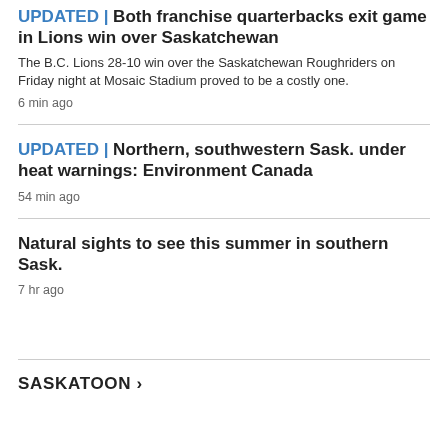UPDATED | Both franchise quarterbacks exit game in Lions win over Saskatchewan
The B.C. Lions 28-10 win over the Saskatchewan Roughriders on Friday night at Mosaic Stadium proved to be a costly one.
6 min ago
UPDATED | Northern, southwestern Sask. under heat warnings: Environment Canada
54 min ago
Natural sights to see this summer in southern Sask.
7 hr ago
SASKATOON >